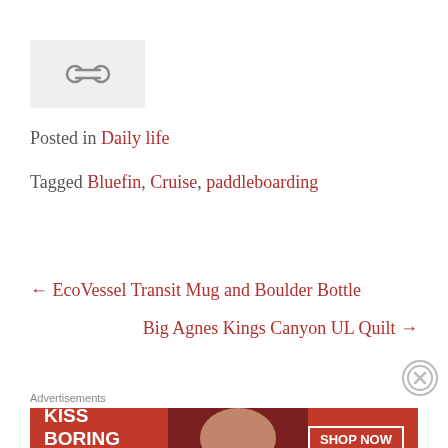[Figure (other): Share/link icon (chain links) on a light gray background box]
Posted in Daily life
Tagged Bluefin, Cruise, paddleboarding
← EcoVessel Transit Mug and Boulder Bottle
Big Agnes Kings Canyon UL Quilt →
[Figure (other): Close/dismiss button (circled X)]
Advertisements
[Figure (photo): Macy's advertisement banner: KISS BORING LIPS GOODBYE with SHOP NOW button and woman with red lips]